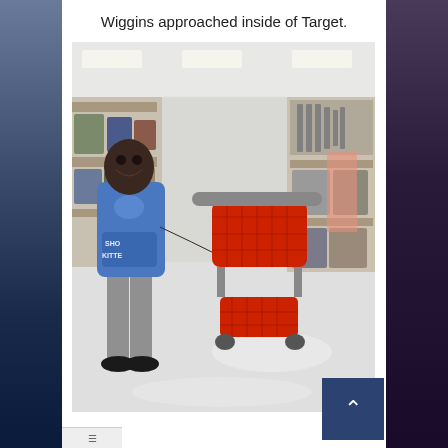Wiggins approached inside of Target.
[Figure (photo): A person wearing a blue graphic t-shirt and grey sweatpants stands in a Target store aisle, holding a red Target shopping cart. Store shelves with merchandise are visible in the background.]